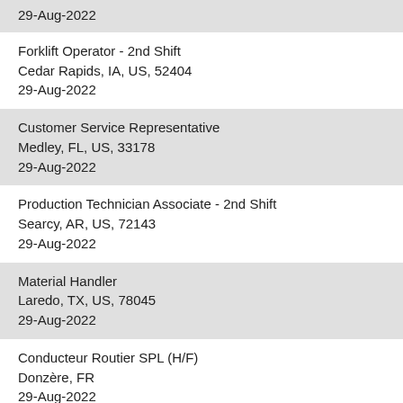29-Aug-2022
Forklift Operator - 2nd Shift
Cedar Rapids, IA, US, 52404
29-Aug-2022
Customer Service Representative
Medley, FL, US, 33178
29-Aug-2022
Production Technician Associate - 2nd Shift
Searcy, AR, US, 72143
29-Aug-2022
Material Handler
Laredo, TX, US, 78045
29-Aug-2022
Conducteur Routier SPL (H/F)
Donzère, FR
29-Aug-2022
Manager, Customs
Union City, GA, US, 04587